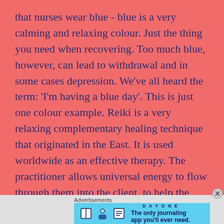that nurses wear blue - blue is a very calming and relaxing colour. Just the thing you need when recovering. Too much blue, however, can lead to withdrawal and in some cases depression. We've all heard the term: 'I'm having a blue day'. This is just one colour example. Reiki is a very relaxing complementary healing technique that originated in the East. It is used worldwide as an effective therapy. The practitioner allows universal energy to flow through them into the client, to help the client recover. The therapies mentioned above are complementary. In orders words they can be used alongside modern medical practices. I do not diagnose or prescribe. Diagnosis and medication is dealt with by your GP or
[Figure (other): Advertisement banner for DAY ONE journaling app with icons and text 'The only journaling app you'll ever need.']